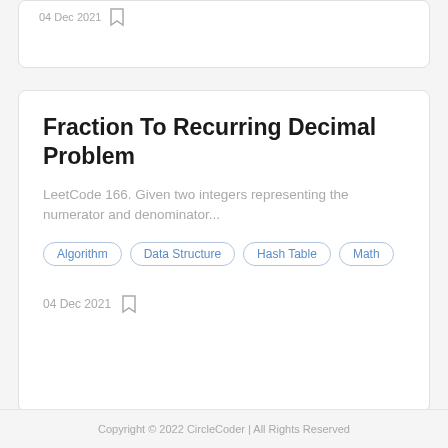04 Dec 2021
Fraction To Recurring Decimal Problem
LeetCode 166. Given two integers representing the numerator and denominator...
Algorithm
Data Structure
Hash Table
Math
04 Dec 2021
Copyright © 2022 CircleCoder | All Rights Reserved